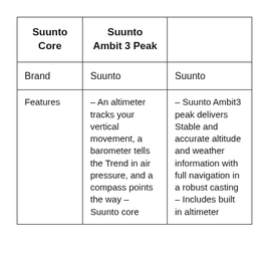| Suunto Core | Suunto Ambit 3 Peak |  |
| --- | --- | --- |
| Brand | Suunto | Suunto |
| Features | – An altimeter tracks your vertical movement, a barometer tells the Trend in air pressure, and a compass points the way – Suunto core | – Suunto Ambit3 peak delivers Stable and accurate altitude and weather information with full navigation in a robust casting – Includes built in altimeter |